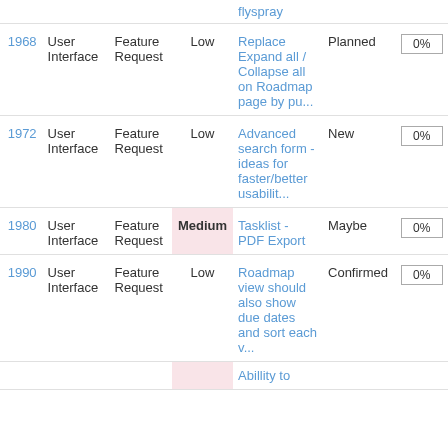| # | Category | Type | Priority | Subject | Status | % |
| --- | --- | --- | --- | --- | --- | --- |
|  |  |  |  | flyspray |  |  |
| 1968 | User Interface | Feature Request | Low | Replace Expand all / Collapse all on Roadmap page by pu... | Planned | 0% |
| 1972 | User Interface | Feature Request | Low | Advanced search form - ideas for faster/better usabilit... | New | 0% |
| 1980 | User Interface | Feature Request | Medium | Tasklist - PDF Export | Maybe | 0% |
| 1990 | User Interface | Feature Request | Low | Roadmap view should also show due dates and sort each v... | Confirmed | 0% |
|  |  |  |  | Abillity to |  |  |